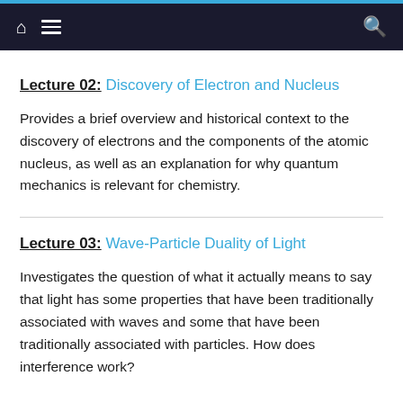Navigation bar with home, menu, and search icons
Lecture 02: Discovery of Electron and Nucleus
Provides a brief overview and historical context to the discovery of electrons and the components of the atomic nucleus, as well as an explanation for why quantum mechanics is relevant for chemistry.
Lecture 03: Wave-Particle Duality of Light
Investigates the question of what it actually means to say that light has some properties that have been traditionally associated with waves and some that have been traditionally associated with particles. How does interference work?